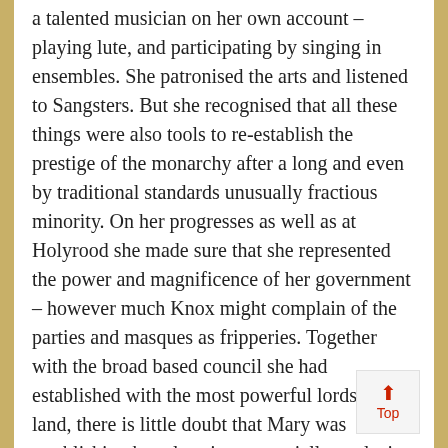a talented musician on her own account – playing lute, and participating by singing in ensembles. She patronised the arts and listened to Sangsters. But she recognised that all these things were also tools to re-establish the prestige of the monarchy after a long and even by traditional standards unusually fractious minority. On her progresses as well as at Holyrood she made sure that she represented the power and magnificence of her government – however much Knox might complain of the parties and masques as fripperies. Together with the broad based council she had established with the most powerful lords in the land, there is little doubt that Mary was establishing her place in a potentially explosive situation – managing the forces of religious conflict, noble factionalism and Anglo French pressure.